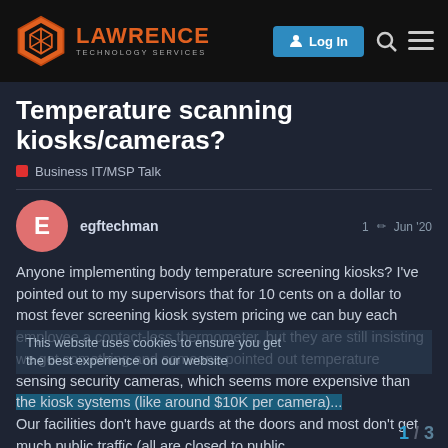Lawrence Technology Services — Log In
Temperature scanning kiosks/cameras?
Business IT/MSP Talk
egftechman — 1 — Jun '20
Anyone implementing body temperature screening kiosks? I've pointed out to my supervisors that for 10 cents on a dollar to most fever screening kiosk system pricing we can buy each employee a contact-less thermometer, but they are still insisting we get something and someone pointed out temperature sensing security cameras, which seems more expensive than the kiosk systems (like around $10K per camera)...
Our facilities don't have guards at the doors and most don't get much public traffic (all are closed to public largest facility only has about 30 employee
1 / 3